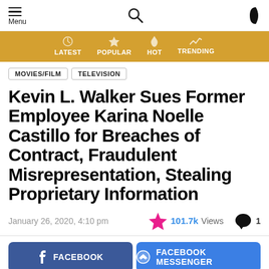Menu | Search | Dark mode toggle
[Figure (infographic): Gold navigation bar with LATEST, POPULAR, HOT, TRENDING links]
MOVIES/FILM   TELEVISION
Kevin L. Walker Sues Former Employee Karina Noelle Castillo for Breaches of Contract, Fraudulent Misrepresentation, Stealing Proprietary Information
January 26, 2020, 4:10 pm   101.7k Views   1 comment
[Figure (infographic): Social share buttons: Facebook, Facebook Messenger, Twitter, SMS, More, Up arrow]